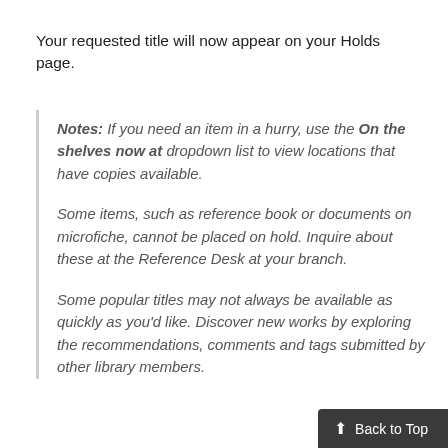Your requested title will now appear on your Holds page.
Notes: If you need an item in a hurry, use the On the shelves now at dropdown list to view locations that have copies available.
Some items, such as reference book or documents on microfiche, cannot be placed on hold. Inquire about these at the Reference Desk at your branch.
Some popular titles may not always be available as quickly as you'd like. Discover new works by exploring the recommendations, comments and tags submitted by other library members.
Back to Top